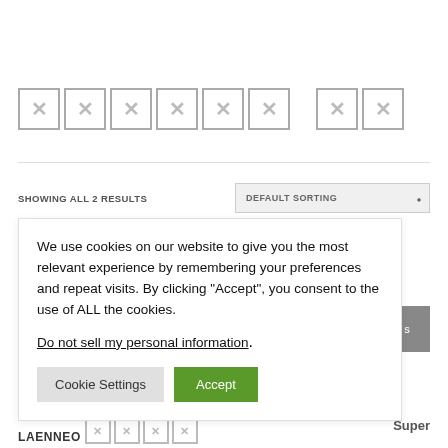[placeholder characters] [placeholder characters]
SHOWING ALL 2 RESULTS
DEFAULT SORTING
We use cookies on our website to give you the most relevant experience by remembering your preferences and repeat visits. By clicking “Accept”, you consent to the use of ALL the cookies.
Do not sell my personal information.
Cookie Settings
Accept
LAENNEO [placeholder] Super